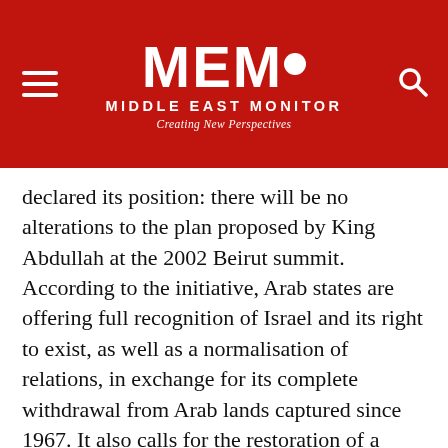MEMO MIDDLE EAST MONITOR Creating New Perspectives
declared its position: there will be no alterations to the plan proposed by King Abdullah at the 2002 Beirut summit. According to the initiative, Arab states are offering full recognition of Israel and its right to exist, as well as a normalisation of relations, in exchange for its complete withdrawal from Arab lands captured since 1967. It also calls for the restoration of a Palestinian state with East Jerusalem as its capital and a "fair solution" for the Palestinian refugees.
There is a lot at stake here for the Saudis; after all, the initiative is often called the Saudi peace plan. Riyadh thus has more to lose than gain from any alteration of the proposal. To begin with, a compromise could be